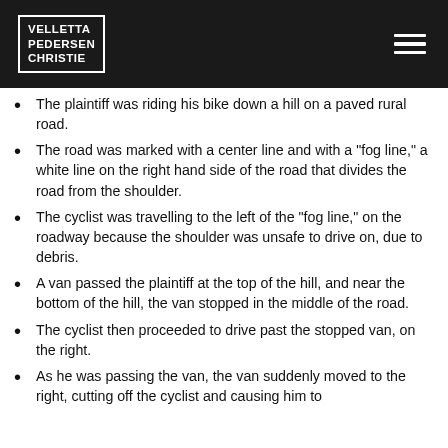VELLETTA PEDERSEN CHRISTIE
The plaintiff was riding his bike down a hill on a paved rural road.
The road was marked with a center line and with a "fog line," a white line on the right hand side of the road that divides the road from the shoulder.
The cyclist was travelling to the left of the "fog line," on the roadway because the shoulder was unsafe to drive on, due to debris.
A van passed the plaintiff at the top of the hill, and near the bottom of the hill, the van stopped in the middle of the road.
The cyclist then proceeded to drive past the stopped van, on the right.
As he was passing the van, the van suddenly moved to the right, cutting off the cyclist and causing him to